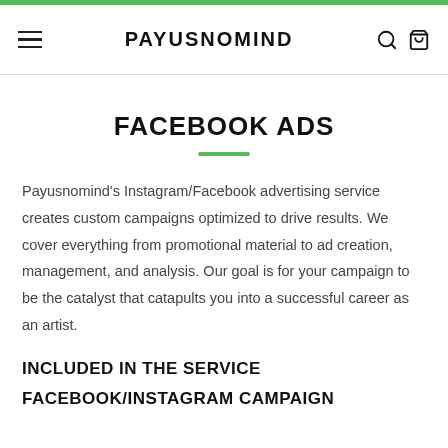PAYUSNOMIND
FACEBOOK ADS
Payusnomind's Instagram/Facebook advertising service creates custom campaigns optimized to drive results. We cover everything from promotional material to ad creation, management, and analysis. Our goal is for your campaign to be the catalyst that catapults you into a successful career as an artist.
INCLUDED IN THE SERVICE
FACEBOOK/INSTAGRAM CAMPAIGN